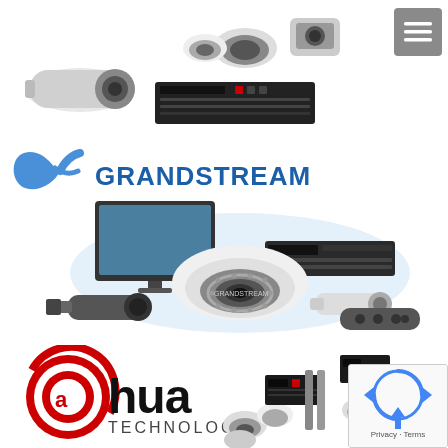[Figure (photo): Security cameras, dome cameras, bullet camera, and DVR recorder product photo at top of page]
[Figure (logo): Grandstream logo with blue swoosh/bird wing and text GRANDSTREAM in blue, with security camera products including dome camera, bullet cameras, NVR recorder, monitor, and remote control]
[Figure (logo): Dahua Technology logo in red and black with circular @a design, with security camera products including dome cameras and DVR equipment]
[Figure (photo): reCAPTCHA privacy badge in bottom right corner with Privacy and Terms links]